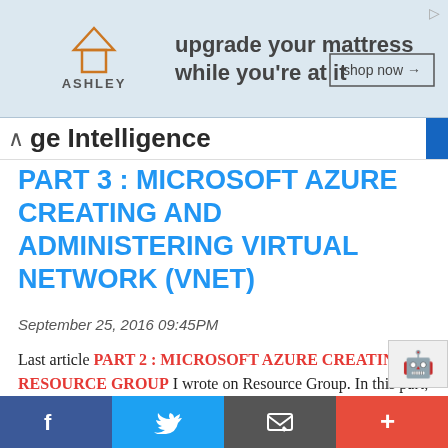[Figure (other): Ashley Furniture advertisement banner: upgrade your mattress while you're at it, with shop now button]
ge Intelligence
PART 3 : MICROSOFT AZURE CREATING AND ADMINISTERING VIRTUAL NETWORK (VNET)
September 25, 2016 09:45PM
Last article PART 2 : MICROSOFT AZURE CREATING RESOURCE GROUP I wrote on Resource Group. In this part, I will be deploying virtual network in same earlier created resource group. Before that I would like you to understand how virtual networks will look once I deploy it. New Virtual Network resource will be a part of Resource Group POC-VPN and the location is East US 2. I will be naming Virtual Network name vnet-poc-10.100.2.0. In this
f  Twitter  email  +